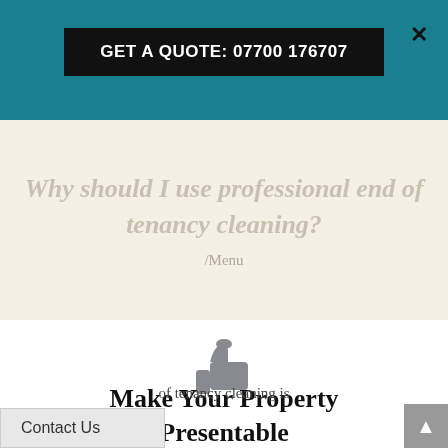GET A QUOTE: 07700 176707
Why should I use professional end of tenancy cleaning?
/Menu
[Figure (illustration): Thumbs up icon in grey]
Make Your Property Presentable
of tenancy cleaning is